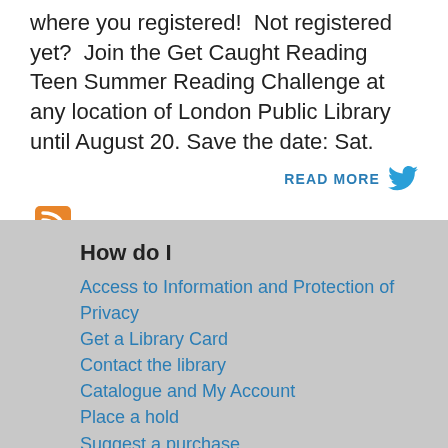where you registered!  Not registered yet?  Join the Get Caught Reading Teen Summer Reading Challenge at any location of London Public Library until August 20. Save the date: Sat.
READ MORE
[Figure (logo): RSS feed orange icon]
How do I
Access to Information and Protection of Privacy
Get a Library Card
Contact the library
Catalogue and My Account
Place a hold
Suggest a purchase
Interlibrary Loan
Rent Function Space